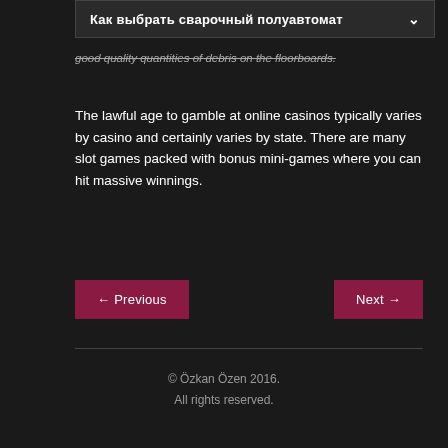Как выбрать сварочный полуавтомат
good quality quantities of debris on the floorboards.
The lawful age to gamble at online casinos typically varies by casino and certainly varies by state. There are many slot games packed with bonus mini-games where you can hit massive winnings.
← Previous    Next →
© Özkan Özen 2016.
All rights reserved.